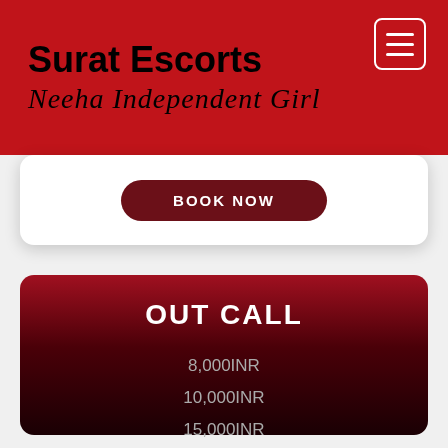Surat Escorts
Neeha Independent Girl
BOOK NOW
OUT CALL
8,000INR
10,000INR
15,000INR
25,000INR
CONFORMED TIYA NUMBERT